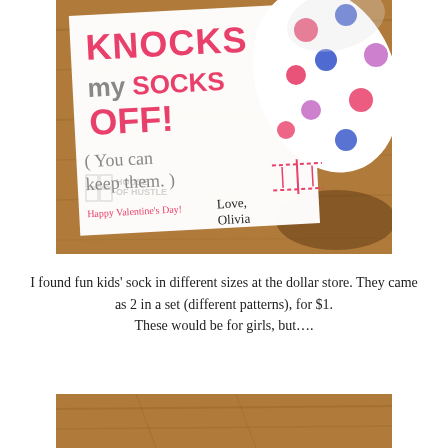[Figure (photo): A Valentine's Day card reading 'KNOCKS my SOCKS OFF! (You can keep them.) Happy Valentine's Day! Love, Olivia' with polka-dot socks on a wooden surface. A watermark reads HOUSE OF HUSTLE.]
I found fun kids’ sock in different sizes at the dollar store. They came as 2 in a set (different patterns), for $1.
These would be for girls, but….
[Figure (photo): Bottom portion of a wooden surface, partially cropped.]